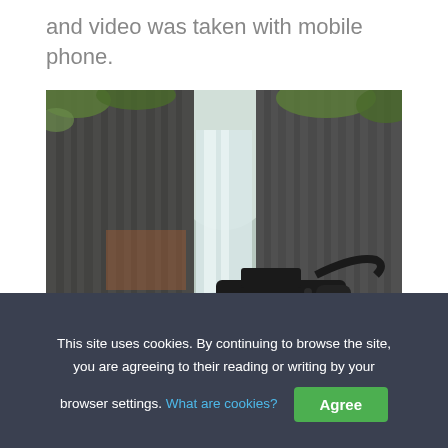and video was taken with mobile phone.
[Figure (photo): A DSLR camera held up in front of a waterfall flowing between tall basalt rock columns covered with moss and green vegetation. The camera (Nikon) is visible in the foreground, with the waterfall and canyon scenery in the background.]
This site uses cookies. By continuing to browse the site, you are agreeing to their reading or writing by your browser settings. What are cookies? Agree